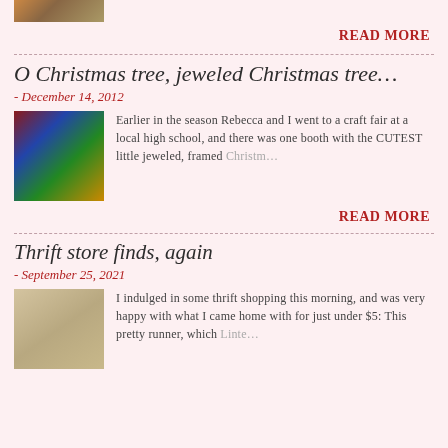[Figure (photo): Top portion of a photo, partially visible at top of page]
READ MORE
O Christmas tree, jeweled Christmas tree…
- December 14, 2012
[Figure (photo): Photo of framed jeweled Christmas tree ornaments arranged in colorful display]
Earlier in the season Rebecca and I went to a craft fair at a local high school, and there was one booth with the CUTEST little jeweled, framed Christm…
READ MORE
Thrift store finds, again
- September 25, 2021
[Figure (photo): Close-up photo of a decorative table runner with embroidered or lace detail]
I indulged in some thrift shopping this morning, and was very happy with what I came home with for just under $5: This pretty runner, which Linte…